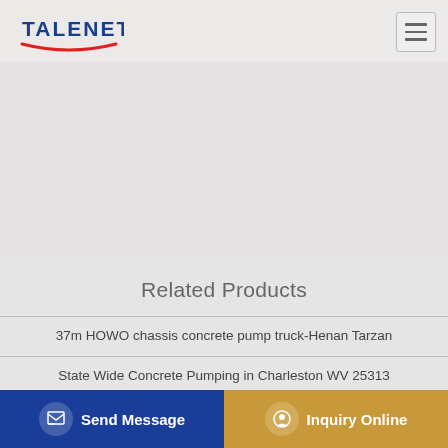[Figure (logo): TALENET company logo with red arc underline and navigation hamburger menu icon]
[Figure (photo): Hero/banner image area — light grey background placeholder]
Related Products
37m HOWO chassis concrete pump truck-Henan Tarzan
State Wide Concrete Pumping in Charleston WV 25313
Used 48m Sany Concrete Pump Truck benz 24m 37m 39m
Preferred Concrete Pumping 2082557867
Send Message
Inquiry Online